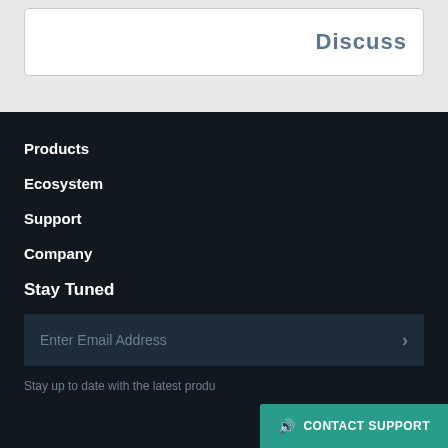[Figure (logo): Disqus logo text in dark teal/grey bold font inside a white card on grey background]
Products
Ecosystem
Support
Company
Stay Tuned
Enter Email Address
Stay up to date with the latest produ...
CONTACT SUPPORT